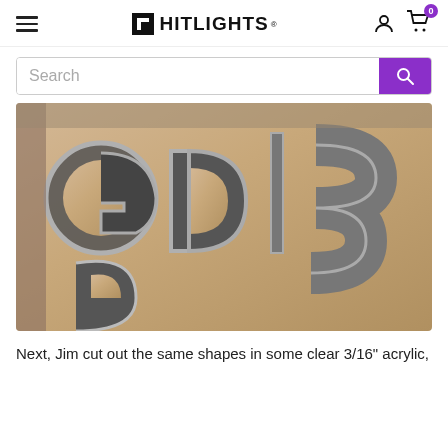HITLIGHTS
[Figure (screenshot): Search bar with purple search button on a HitLights website]
[Figure (photo): Photo of large acrylic letters/shapes being cut, showing mirror-finish chrome-like letters including what appears to be G, D and S shapes on a beige/tan background board in a workshop setting]
Next, Jim cut out the same shapes in some clear 3/16" acrylic,